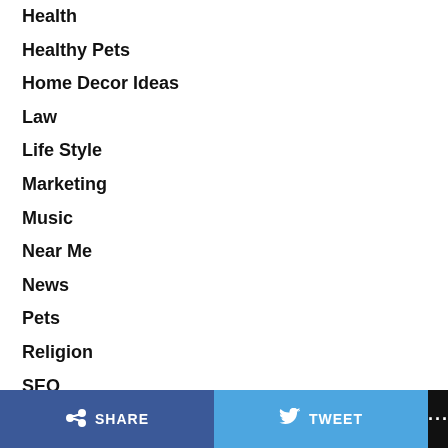Health
Healthy Pets
Home Decor Ideas
Law
Life Style
Marketing
Music
Near Me
News
Pets
Religion
SEO
Social Media
Sports
Tech
Travel
Watches
SHARE   TWEET   ...